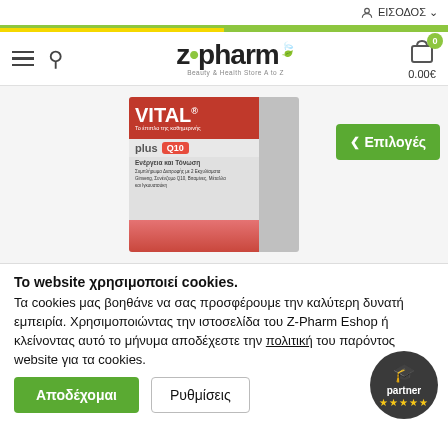ΕΙΣΟΔΟΣ
[Figure (logo): z-pharm Beauty & Health Store logo with green leaf]
[Figure (photo): VITAL plus Q10 product box - energy and tone supplement with Ginseng, CoQ10, Vitamins, Minerals and Guarana]
Επιλογές
Το website χρησιμοποιεί cookies.
Τα cookies μας βοηθάνε να σας προσφέρουμε την καλύτερη δυνατή εμπειρία. Χρησιμοποιώντας την ιστοσελίδα του Z-Pharm Eshop ή κλείνοντας αυτό το μήνυμα αποδέχεστε την πολιτική του παρόντος website για τα cookies.
Αποδέχομαι
Ρυθμίσεις
[Figure (logo): Partner badge with 5 stars rating]